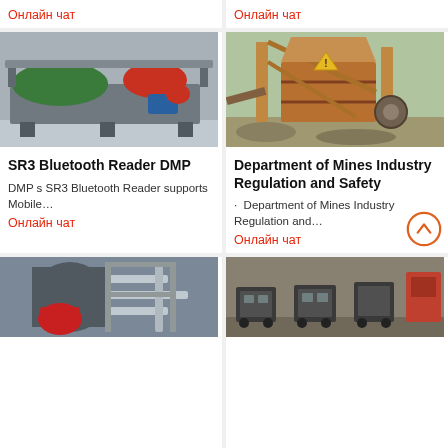Онлайн чат
Онлайн чат
[Figure (photo): Industrial magnetic separator machine with green and red rollers on a factory floor]
[Figure (photo): Mining jaw crusher equipment at an outdoor mining site]
SR3 Bluetooth Reader DMP
DMP s SR3 Bluetooth Reader supports Mobile…
Онлайн чат
Department of Mines Industry Regulation and Safety
· Department of Mines Industry Regulation and…
Онлайн чат
[Figure (photo): Industrial boiler or processing plant equipment with red machinery and pipes]
[Figure (photo): Factory interior with industrial trolleys or transport equipment]